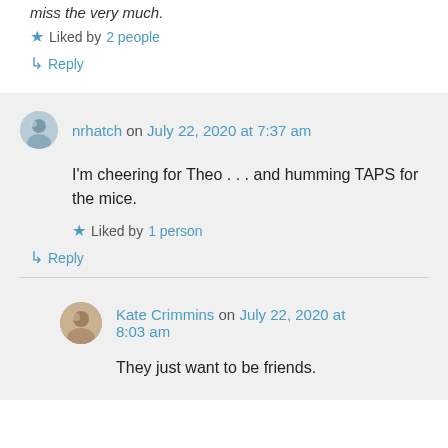miss the very much.
★ Liked by 2 people
↳ Reply
nrhatch on July 22, 2020 at 7:37 am
I'm cheering for Theo . . . and humming TAPS for the mice.
★ Liked by 1 person
↳ Reply
Kate Crimmins on July 22, 2020 at 8:03 am
They just want to be friends.